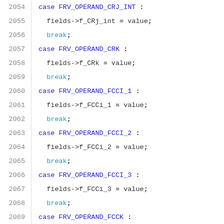2054  case FRV_OPERAND_CRJ_INT :
2055    fields->f_CRj_int = value;
2056    break;
2057  case FRV_OPERAND_CRK :
2058    fields->f_CRk = value;
2059    break;
2060  case FRV_OPERAND_FCCI_1 :
2061    fields->f_FCCi_1 = value;
2062    break;
2063  case FRV_OPERAND_FCCI_2 :
2064    fields->f_FCCi_2 = value;
2065    break;
2066  case FRV_OPERAND_FCCI_3 :
2067    fields->f_FCCi_3 = value;
2068    break;
2069  case FRV_OPERAND_FCCK :
2070    fields->f_FCCk = value;
2071    break;
2072  case FRV_OPERAND_FRDOUBLEI :
2073    fields->f_FRi = value;
2074    break;